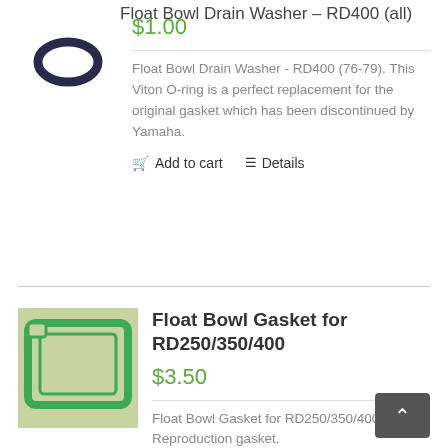Float Bowl Drain Washer – RD400 (all)
$1.00
[Figure (photo): Photo of a black rubber O-ring washer]
Float Bowl Drain Washer - RD400 (76-79). This Viton O-ring is a perfect replacement for the original gasket which has been discontinued by Yamaha.
Add to cart
Details
Float Bowl Gasket for RD250/350/400
$3.50
[Figure (photo): Photo of a green rubber float bowl gasket for RD250/350/400]
Float Bowl Gasket for RD250/350/400. Reproduction gasket.